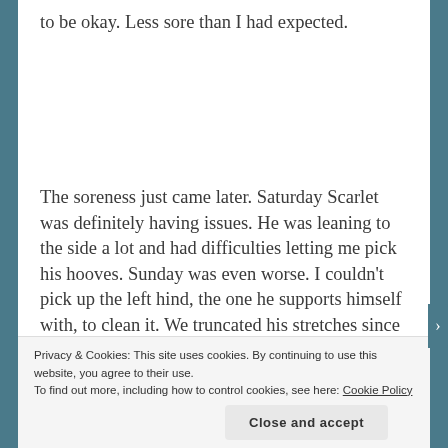to be okay. Less sore than I had expected.
The soreness just came later. Saturday Scarlet was definitely having issues. He was leaning to the side a lot and had difficulties letting me pick his hooves. Sunday was even worse. I couldn't pick up the left hind, the one he supports himself with, to clean it. We truncated his stretches since he was having issues balancing. It was painful to watch him hobble
Privacy & Cookies: This site uses cookies. By continuing to use this website, you agree to their use.
To find out more, including how to control cookies, see here: Cookie Policy
Close and accept